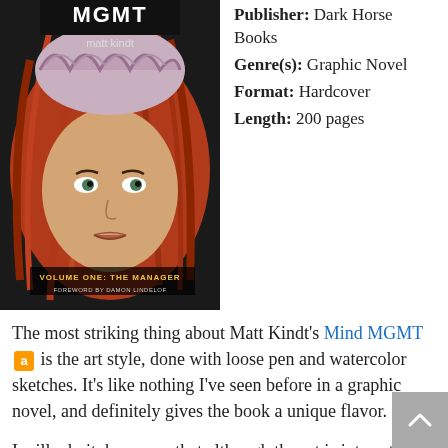[Figure (illustration): Book cover of Mind MGMT Volume One: The Manager by Matt Kindt, published by Dark Horse Books. Shows illustrated face of a woman with red hair and a brain-like hat, drawn in pen and watercolor style.]
Publisher: Dark Horse Books
Genre(s): Graphic Novel
Format: Hardcover
Length: 200 pages
The most striking thing about Matt Kindt's Mind MGMT [amazon link] is the art style, done with loose pen and watercolor sketches. It's like nothing I've seen before in a graphic novel, and definitely gives the book a unique flavor.
I will admit, however, that although the art is interesting, it isn't entirely to my personal taste. I like that Kindt did something original with his